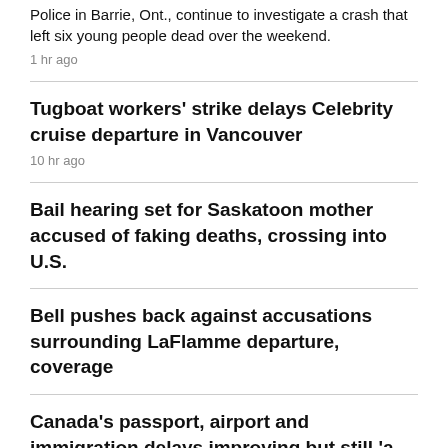Police in Barrie, Ont., continue to investigate a crash that left six young people dead over the weekend.
1 hr ago
Tugboat workers' strike delays Celebrity cruise departure in Vancouver
10 hr ago
Bail hearing set for Saskatoon mother accused of faking deaths, crossing into U.S.
Bell pushes back against accusations surrounding LaFlamme departure, coverage
Canada's passport, airport and immigration delays improving but still 'a lot of work to do,' ministers say